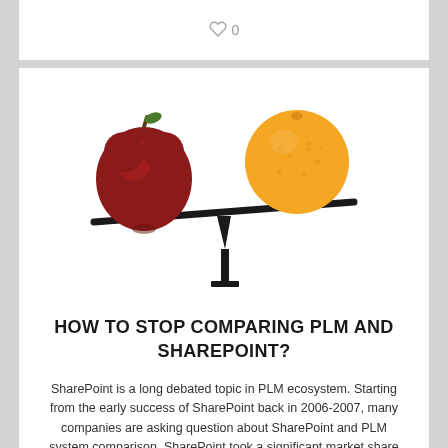♥ 0
[Figure (illustration): An apple (red) and an orange balanced on a seesaw/scale, illustrating the concept of comparing two different things. The apple side is tilted down slightly, the orange side is higher.]
HOW TO STOP COMPARING PLM AND SHAREPOINT?
SharePoint is a long debated topic in PLM ecosystem. Starting from the early success of SharePoint back in 2006-2007, many companies are asking question about SharePoint and PLM system comparison. SharePoint took a significant market share